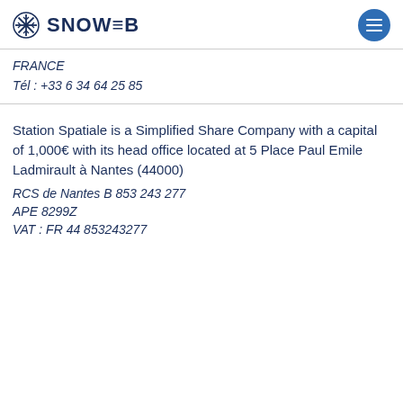SNOWEB
FRANCE
Tél : +33 6 34 64 25 85
Station Spatiale is a Simplified Share Company with a capital of 1,000€ with its head office located at 5 Place Paul Emile Ladmirault à Nantes (44000)
RCS de Nantes B 853 243 277
APE 8299Z
VAT : FR 44 853243277